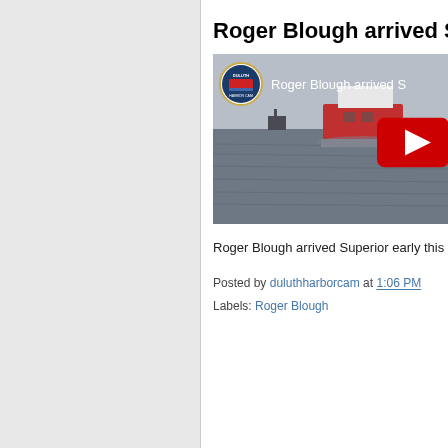Roger Blough arrived S
[Figure (screenshot): YouTube video thumbnail showing the Roger Blough ship arriving at Superior, with the Duluth Harbor Cam channel logo overlay and a red YouTube play button on the right side.]
Roger Blough arrived Superior early this at
Posted by duluthharborcam at 1:06 PM
Labels: Roger Blough